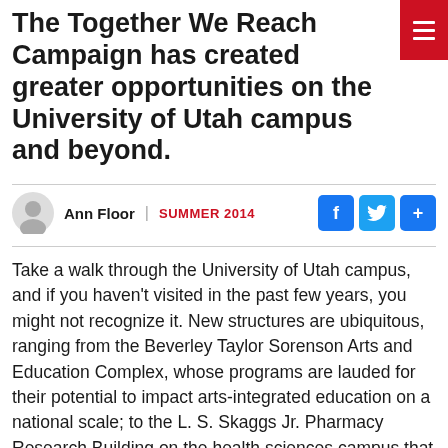The Together We Reach Campaign has created greater opportunities on the University of Utah campus and beyond.
Ann Floor | SUMMER 2014
Take a walk through the University of Utah campus, and if you haven't visited in the past few years, you might not recognize it. New structures are ubiquitous, ranging from the Beverley Taylor Sorenson Arts and Education Complex, whose programs are lauded for their potential to impact arts-integrated education on a national scale; to the L. S. Skaggs Jr. Pharmacy Research Building on the health sciences campus that brings together pharmacy faculty once scattered in eight different buildings across campus; and the architecturally stunning Natural History Museum of Utah, on the Rio Three Campus, that has...